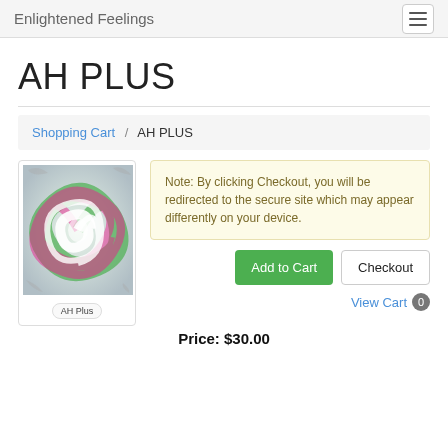Enlightened Feelings
AH PLUS
Shopping Cart / AH PLUS
[Figure (photo): Swirling abstract image with green, pink, and white colors, labeled 'AH Plus']
Note: By clicking Checkout, you will be redirected to the secure site which may appear differently on your device.
Add to Cart  Checkout
View Cart 0
Price: $30.00